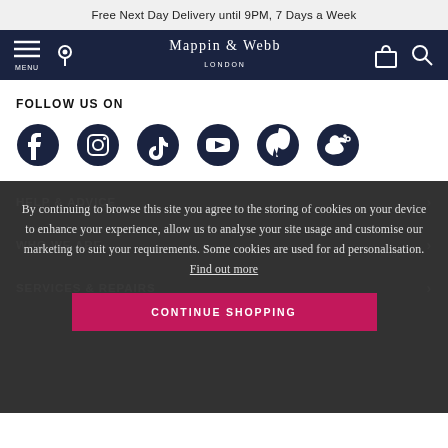Free Next Day Delivery until 9PM, 7 Days a Week
[Figure (screenshot): Mappin & Webb London navigation bar with menu, location, bag and search icons on dark navy background]
FOLLOW US ON
[Figure (infographic): Social media icons: Facebook, Instagram, TikTok, YouTube, Pinterest, Weibo]
By continuing to browse this site you agree to the storing of cookies on your device to enhance your experience, allow us to analyse your site usage and customise our marketing to suit your requirements. Some cookies are used for ad personalisation. Find out more
HELP & ADVICE
WHO WE ARE
SERVICES & REPAIRS
CONTINUE SHOPPING